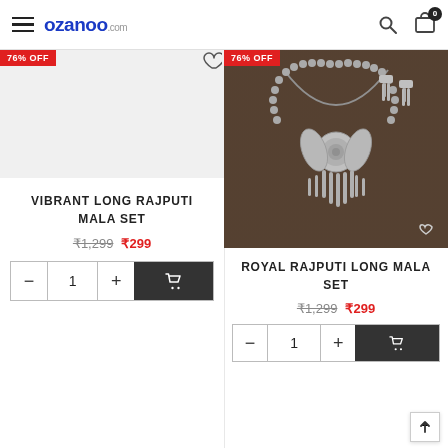ozanoo.com
76% OFF
Vibrant Long Rajputi Mala Set
₹1,299 ₹299
76% OFF
[Figure (photo): Silver oxidized Rajputi long mala set with peacock pendant and feather danglers, with matching earrings, on dark wooden background]
Royal Rajputi Long Mala Set
₹1,299 ₹299